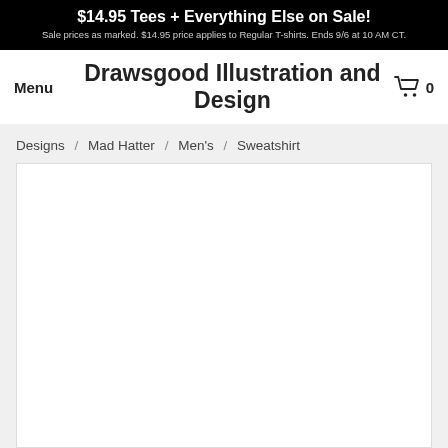$14.95 Tees + Everything Else on Sale! Sale prices as marked. $14.95 price applies to Regular T-shirts. Ends 9/6 at 10 AM CT.
Drawsgood Illustration and Design
Menu
0
Designs / Mad Hatter / Men's / Sweatshirt
[Figure (photo): White blank product image area for a men's sweatshirt]